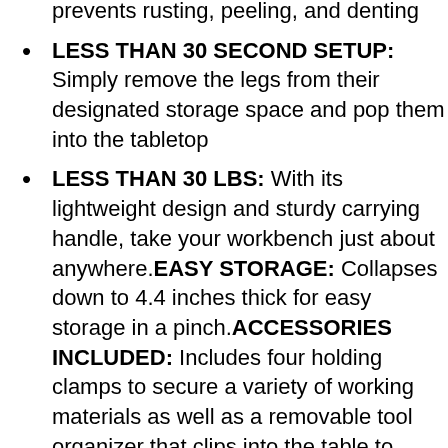prevents rusting, peeling, and denting
LESS THAN 30 SECOND SETUP: Simply remove the legs from their designated storage space and pop them into the tabletop
LESS THAN 30 LBS: With its lightweight design and sturdy carrying handle, take your workbench just about anywhere.EASY STORAGE: Collapses down to 4.4 inches thick for easy storage in a pinch.ACCESSORIES INCLUDED: Includes four holding clamps to secure a variety of working materials as well as a removable tool organizer that clips into the table to always have on hand.DISCREET STORAGE BIN: It has a built-in storage compartment to keep all your tools on